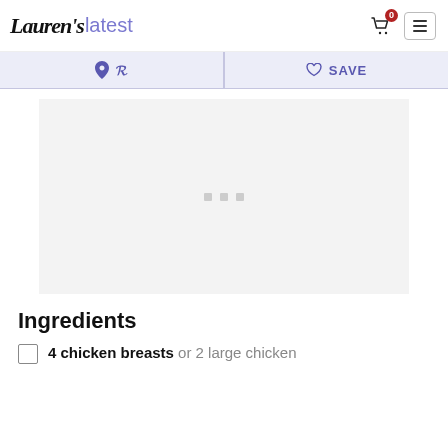Lauren's latest
[Figure (screenshot): Navigation bar with Pinterest share icon and Save/heart icon on a light lavender background]
[Figure (other): Gray advertisement placeholder area with three small gray squares/dots in center]
Ingredients
4 chicken breasts or 2 large chicken